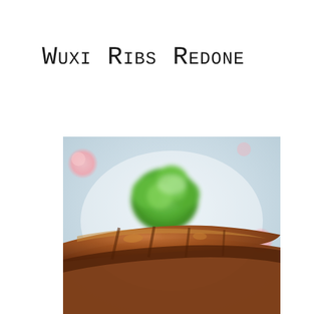Wuxi Ribs Redone
[Figure (photo): A plate with glazed Wuxi-style pork ribs in the foreground and a head of steamed broccoli in the background, served on a floral patterned dish with light blue background.]